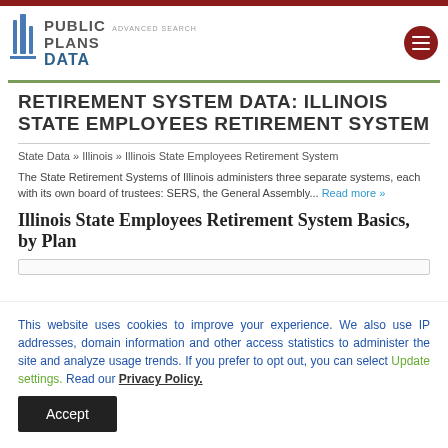PUBLIC PLANS DATA  ADVANCED SEARCH
RETIREMENT SYSTEM DATA: ILLINOIS STATE EMPLOYEES RETIREMENT SYSTEM
State Data » Illinois » Illinois State Employees Retirement System
The State Retirement Systems of Illinois administers three separate systems, each with its own board of trustees: SERS, the General Assembly... Read more »
Illinois State Employees Retirement System Basics, by Plan
This website uses cookies to improve your experience. We also use IP addresses, domain information and other access statistics to administer the site and analyze usage trends. If you prefer to opt out, you can select Update settings. Read our Privacy Policy.